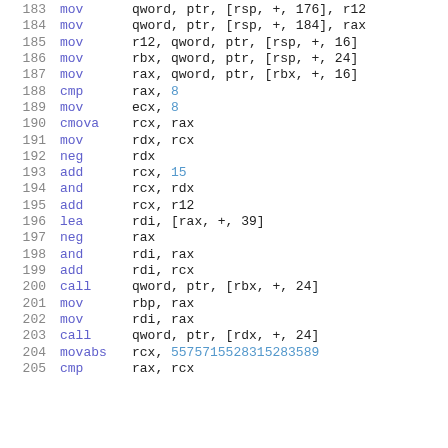183  mov   qword, ptr, [rsp, +, 176], r12
184  mov   qword, ptr, [rsp, +, 184], rax
185  mov   r12, qword, ptr, [rsp, +, 16]
186  mov   rbx, qword, ptr, [rsp, +, 24]
187  mov   rax, qword, ptr, [rbx, +, 16]
188  cmp   rax, 8
189  mov   ecx, 8
190  cmova rcx, rax
191  mov   rdx, rcx
192  neg   rdx
193  add   rcx, 15
194  and   rcx, rdx
195  add   rcx, r12
196  lea   rdi, [rax, +, 39]
197  neg   rax
198  and   rdi, rax
199  add   rdi, rcx
200  call  qword, ptr, [rbx, +, 24]
201  mov   rbp, rax
202  mov   rdi, rax
203  call  qword, ptr, [rdx, +, 24]
204  movabs rcx, 5575715528315283589
205  cmp   rax, rcx